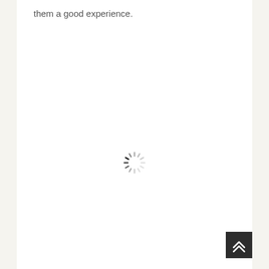them a good experience.
[Figure (other): Loading spinner — a circular spinner icon with radiating dashes in grey/black indicating a loading state]
[Figure (other): Back-to-top button — a dark square button with a double upward chevron arrow icon in white]